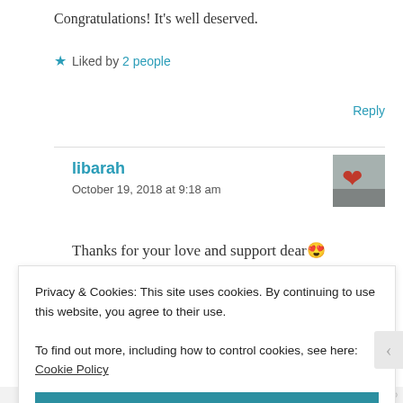Congratulations! It's well deserved.
★ Liked by 2 people
Reply
libarah
October 19, 2018 at 9:18 am
[Figure (photo): Profile photo thumbnail of libarah, showing a heart graphic]
Thanks for your love and support dear😍
Privacy & Cookies: This site uses cookies. By continuing to use this website, you agree to their use.
To find out more, including how to control cookies, see here: Cookie Policy
Close and accept